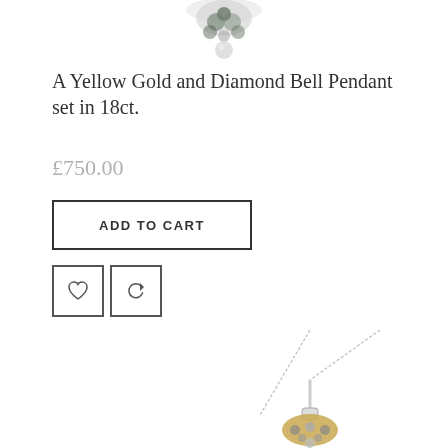[Figure (photo): Partial view of a jewellery piece (top of pendant/ring) on white background, cropped at top of page]
A Yellow Gold and Diamond Bell Pendant set in 18ct.
£750.00
ADD TO CART
[Figure (infographic): Two icon buttons: a heart (wishlist) icon and a refresh/compare icon, each in a square border]
[Figure (photo): A Yellow Gold and Diamond Bell Pendant on chain, shown on white background, lower portion of page]